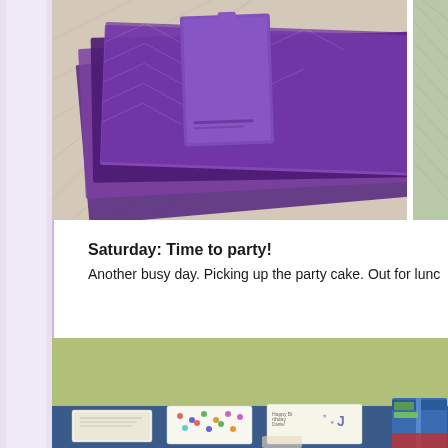[Figure (photo): Photo of purple fabric swatches and a purple paint chip/swatch card laid on a quilted white surface, with another photo partially visible on the right edge showing a green quilted background]
Saturday: Time to party!
Another busy day. Picking up the party cake. Out for lunc
[Figure (photo): Photo of birthday cards and greeting cards laid on a blue table surface in front of a green painted wall, with colorful polka dot and hand-drawn cards visible. A blue gift box is partially visible on the right side.]